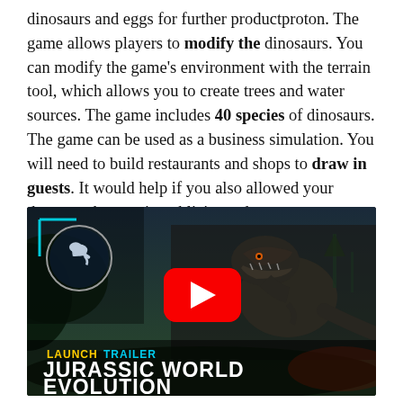dinosaurs and eggs for further productproton. The game allows players to modify the dinosaurs. You can modify the game's environment with the terrain tool, which allows you to create trees and water sources. The game includes 40 species of dinosaurs. The game can be used as a business simulation. You will need to build restaurants and shops to draw in guests. It would help if you also allowed your theme parks to gain publicity and earn money.
[Figure (screenshot): YouTube video thumbnail for 'Jurassic World Evolution Launch Trailer'. Shows a roaring T-Rex dinosaur against a dark jungle/park background. Features the Jurassic World circular logo in the top left with a cyan corner bracket decoration. A large red YouTube play button is centered on the image. Text at bottom left reads 'LAUNCH TRAILER' in yellow/cyan and 'JURASSIC WORLD EVOLUTION' in large white bold text.]